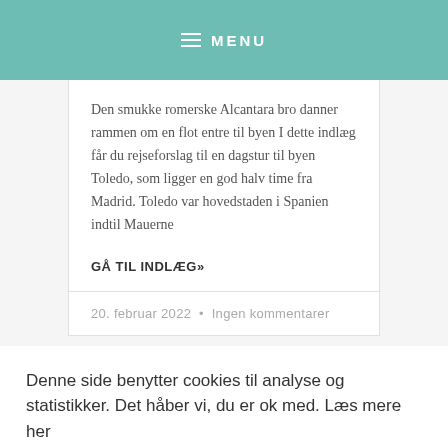MENU
Den smukke romerske Alcantara bro danner rammen om en flot entre til byen I dette indlæg får du rejseforslag til en dagstur til byen Toledo, som ligger en god halv time fra Madrid. Toledo var hovedstaden i Spanien indtil Mauerne
GÅ TIL INDLÆG»
20. februar 2022  •  Ingen kommentarer
Denne side benytter cookies til analyse og statistikker. Det håber vi, du er ok med. Læs mere her
Cookie Settings
Accepter alle